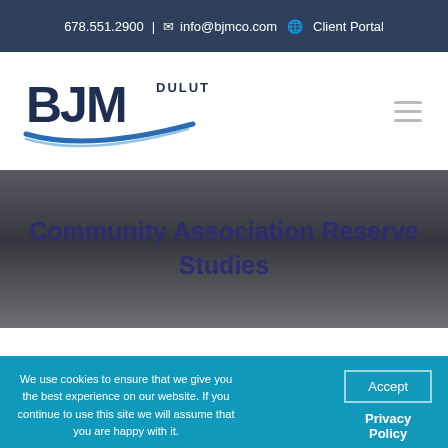678.551.2900 | info@bjmco.com  Client Portal
[Figure (logo): BJM Duluth logo with blue swoosh underline]
Community Association Reserve Studies
We use cookies to ensure that we give you the best experience on our website. If you continue to use this site we will assume that you are happy with it.
Accept
Privacy Policy